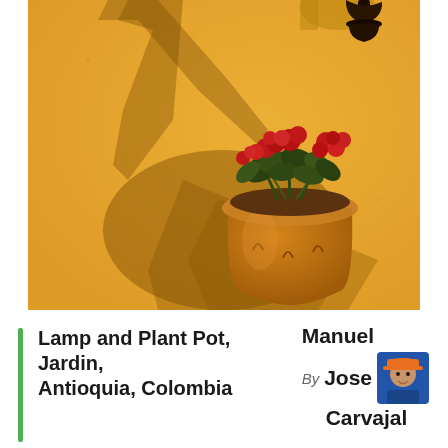[Figure (photo): A terracotta wall-mounted flower pot with red geraniums casting a dramatic shadow on a bright yellow painted wall. The shadow of a hanging lamp is also visible at the top.]
Lamp and Plant Pot, Jardin, Antioquia, Colombia
By Manuel Jose Carvajal